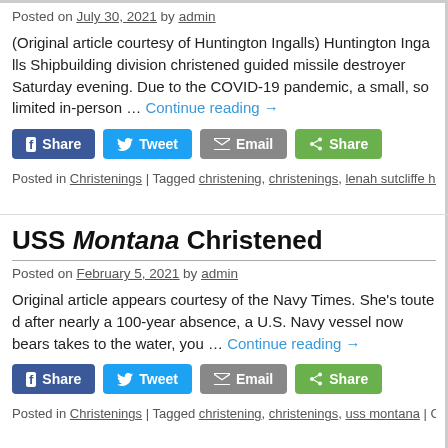Posted on July 30, 2021 by admin
(Original article courtesy of Huntington Ingalls) Huntington Ingalls Shipbuilding division christened guided missile destroyer Saturday evening. Due to the COVID-19 pandemic, a small, so limited in-person … Continue reading →
[Figure (other): Social share buttons: Facebook Share, Twitter Tweet, Email, Share]
Posted in Christenings | Tagged christening, christenings, lenah sutcliffe hi
USS Montana Christened
Posted on February 5, 2021 by admin
Original article appears courtesy of the Navy Times. She's touted after nearly a 100-year absence, a U.S. Navy vessel now bears takes to the water, you … Continue reading →
[Figure (other): Social share buttons: Facebook Share, Twitter Tweet, Email, Share]
Posted in Christenings | Tagged christening, christenings, uss montana | C